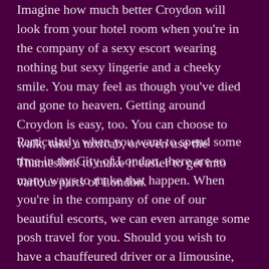Imagine how much better Croydon will look from your hotel room when you're in the company of a sexy escort wearing nothing but sexy lingerie and a cheeky smile. You may feel as though you've died and gone to heaven. Getting around Croydon is easy, too. You can choose to walk, take a taxicab, or even use the Thameslink to make it easier to get into various parts of London.
Particularly when you want to spend some time in the City of London, there are so many ways to make that happen. When you're in the company of one of our beautiful escorts, we can even arrange some posh travel for you. Should you wish to have a chauffeured driver or a limousine, simply let us know when you book. We'll